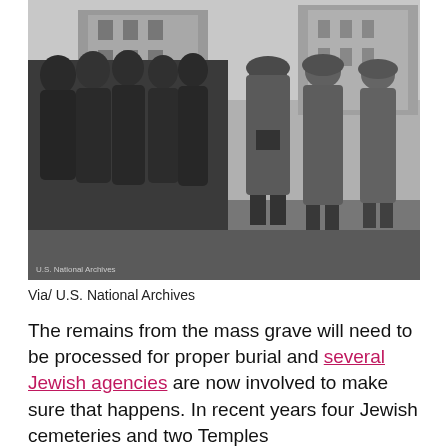[Figure (photo): Black and white historical photograph showing a group of civilians lined up against a building on a street, with several German soldiers in uniform and helmets standing nearby. A watermark reads 'U.S. National Archives' in the lower left corner.]
Via/ U.S. National Archives
The remains from the mass grave will need to be processed for proper burial and several Jewish agencies are now involved to make sure that happens. In recent years four Jewish cemeteries and two Temples